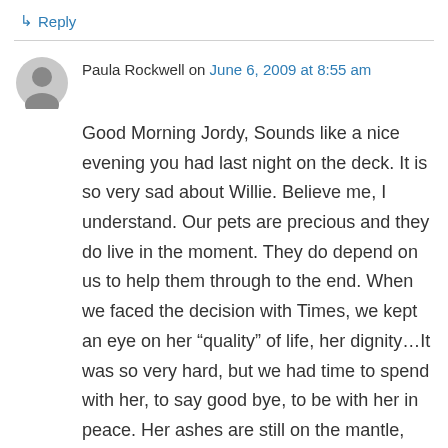↳ Reply
Paula Rockwell on June 6, 2009 at 8:55 am
Good Morning Jordy, Sounds like a nice evening you had last night on the deck. It is so very sad about Willie. Believe me, I understand. Our pets are precious and they do live in the moment. They do depend on us to help them through to the end. When we faced the decision with Times, we kept an eye on her “quality” of life, her dignity…It was so very hard, but we had time to spend with her, to say good bye, to be with her in peace. Her ashes are still on the mantle, with Pennie. Her collar is hung on the van mirror as she loved to camp. I miss her daily. The